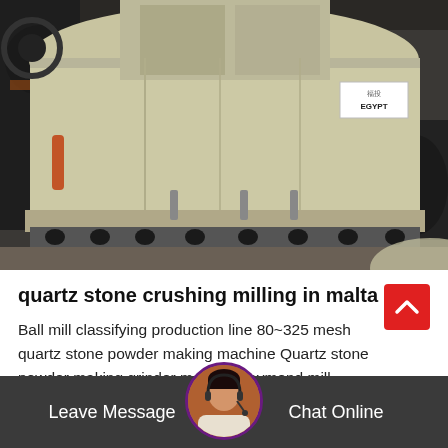[Figure (photo): Large industrial milling machine (raymond mill / ball mill) in a factory setting, with a beige/cream colored cylindrical body, heavy base, and a label reading 'EGYPT' on the machine. Industrial factory background.]
quartz stone crushing milling in malta
Ball mill classifying production line 80~325 mesh quartz stone powder making machine Quartz stone powder making grinder machine raymond mill supplier. ...
Release Time:01-29